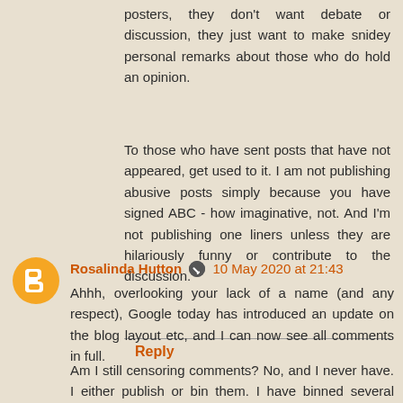posters, they don't want debate or discussion, they just want to make snidey personal remarks about those who do hold an opinion.
To those who have sent posts that have not appeared, get used to it. I am not publishing abusive posts simply because you have signed ABC - how imaginative, not. And I'm not publishing one liners unless they are hilariously funny or contribute to the discussion.
Reply
Rosalinda Hutton  10 May 2020 at 21:43
Ahhh, overlooking your lack of a name (and any respect), Google today has introduced an update on the blog layout etc, and I can now see all comments in full.
Am I still censoring comments? No, and I never have. I either publish or bin them. I have binned several today, the